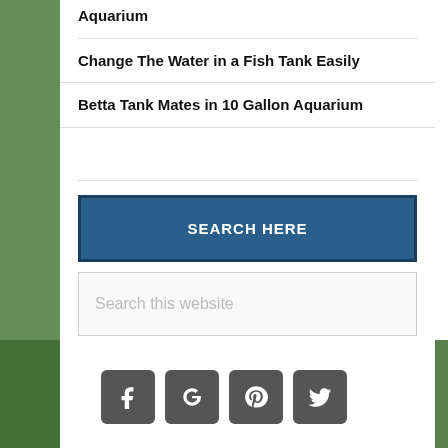Aquarium
Change The Water in a Fish Tank Easily
Betta Tank Mates in 10 Gallon Aquarium
SEARCH HERE
Search this website
[Figure (infographic): Social media icons row: Facebook, Google+, Pinterest, Twitter — gray rounded square buttons with white icons]